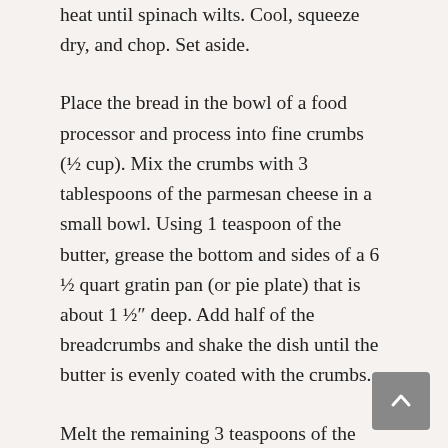heat until spinach wilts. Cool, squeeze dry, and chop. Set aside.
Place the bread in the bowl of a food processor and process into fine crumbs (½ cup). Mix the crumbs with 3 tablespoons of the parmesan cheese in a small bowl. Using 1 teaspoon of the butter, grease the bottom and sides of a 6 ½ quart gratin pan (or pie plate) that is about 1 ½″ deep. Add half of the breadcrumbs and shake the dish until the butter is evenly coated with the crumbs.
Melt the remaining 3 teaspoons of the butter in a saucepan and then add the oil